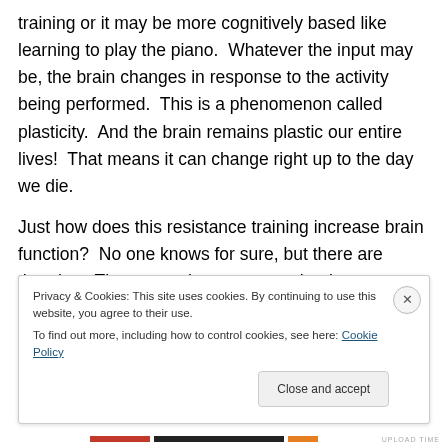training or it may be more cognitively based like learning to play the piano.  Whatever the input may be, the brain changes in response to the activity being performed.  This is a phenomenon called plasticity.  And the brain remains plastic our entire lives!  That means it can change right up to the day we die.
Just how does this resistance training increase brain function?  No one knows for sure, but there are theories.  The researchers propose that because weight training reduces many cardiovascular risk factors and does
Privacy & Cookies: This site uses cookies. By continuing to use this website, you agree to their use.
To find out more, including how to control cookies, see here: Cookie Policy
Close and accept